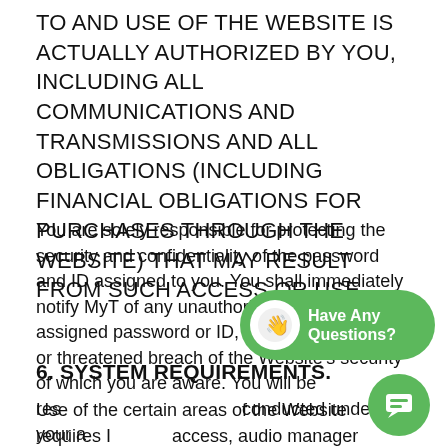TO AND USE OF THE WEBSITE IS ACTUALLY AUTHORIZED BY YOU, INCLUDING ALL COMMUNICATIONS AND TRANSMISSIONS AND ALL OBLIGATIONS (INCLUDING FINANCIAL OBLIGATIONS FOR PURCHASES THROUGH THE WEBSITE) THAT MAY RESULT FROM SUCH ACCESS OR USE.
You are solely responsible for protecting the security and confidentiality of the password and ID assigned to you. You shall immediately notify MyT of any unauthorized use of the assigned password or ID, or any other breach or threatened breach of the Website's security of which you are aware. You will be responsible for all activity conducted under your a...
6. SYSTEM REQUIREMENTS.
Use of the certain areas of the Website requires I... access, audio manager software or other software